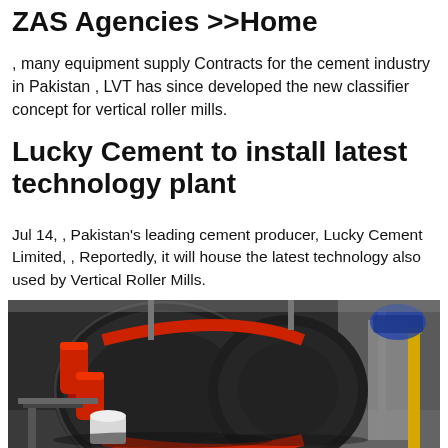ZAS Agencies >>Home
, many equipment supply Contracts for the cement industry in Pakistan , LVT has since developed the new classifier concept for vertical roller mills.
Lucky Cement to install latest technology plant
Jul 14, , Pakistan's leading cement producer, Lucky Cement Limited, , Reportedly, it will house the latest technology also used by Vertical Roller Mills.
[Figure (photo): Industrial machinery - vertical roller mill or similar heavy cement industry equipment, showing large dark metal housing with red cylindrical components, red belt/drive system, and metal framework in a facility.]